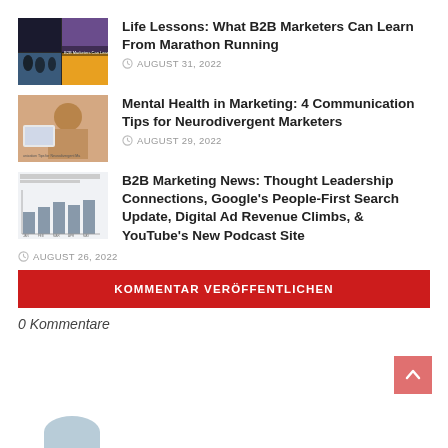[Figure (photo): Thumbnail image for article about Life Lessons and Marathon Running for B2B Marketers]
Life Lessons: What B2B Marketers Can Learn From Marathon Running
AUGUST 31, 2022
[Figure (photo): Thumbnail image for article about Mental Health in Marketing for Neurodivergent Marketers]
Mental Health in Marketing: 4 Communication Tips for Neurodivergent Marketers
AUGUST 29, 2022
[Figure (bar-chart): Thumbnail showing a bar chart about B2B Leadership and connections with stakeholders]
B2B Marketing News: Thought Leadership Connections, Google’s People-First Search Update, Digital Ad Revenue Climbs, & YouTube’s New Podcast Site
AUGUST 26, 2022
KOMMENTAR VERÖFFENTLICHEN
0 Kommentare